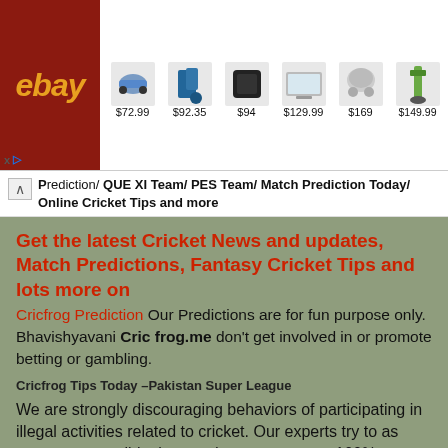[Figure (screenshot): eBay advertisement banner showing logo and 6 products with prices: $72.99, $92.35, $94, $129.99, $169, $149.99]
Prediction/ QUE XI Team/ PES Team/ Match Prediction Today/ Online Cricket Tips and more
Get the latest Cricket News and updates, Match Predictions, Fantasy Cricket Tips and lots more on
Cricfrog Prediction Our Predictions are for fun purpose only. Bhavishyavani Cric frog.me don't get involved in or promote betting or gambling.
Cricfrog Tips Today –Pakistan Super League
We are strongly discouraging behaviors of participating in illegal activities related to cricket. Our experts try to as correct as possible, but we do not guarantee 100% correctness.
- February 21, 2020